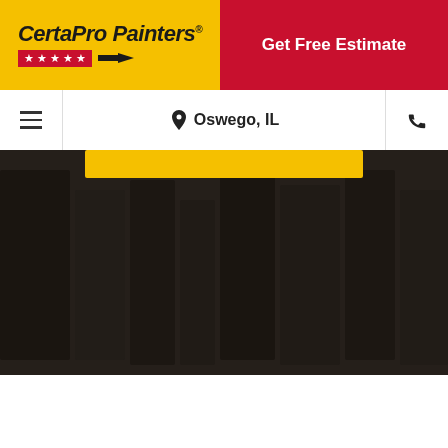[Figure (logo): CertaPro Painters logo with yellow background, brand name in italic bold, red stars bar below]
Get Free Estimate
[Figure (screenshot): Navigation bar with hamburger menu, location pin icon with 'Oswego, IL' text, and phone icon]
[Figure (photo): Hero image showing dark background with painters/painting scene, yellow CTA button strip at top]